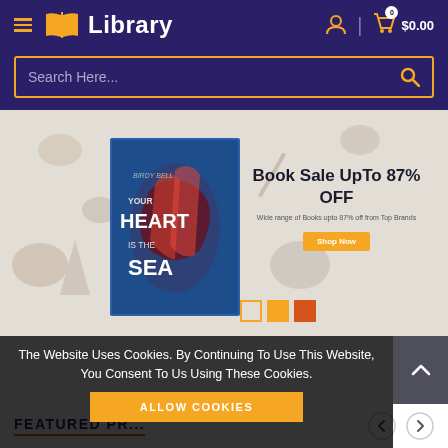[Figure (screenshot): Library website header with orange book logo, Library text, hamburger menu, user icon, and cart showing $0.00 on dark purple background]
[Figure (screenshot): Search bar with placeholder 'Search Here...' and magnifying glass icon on dark purple background with orange border]
[Figure (screenshot): Hero banner showing book 'Your Heart Is The Sea' with beach/coastal items, text 'Book Sale UpTo 87% OFF', subtitle 'Wide range of Books upto 87% off from Top Brands', orange Shop Now button, and three slide indicator squares]
The Website Uses Cookies. By Continuing To Use This Website, You Consent To Us Using These Cookies.
ALLOW COOKIES
FEATURED PR...